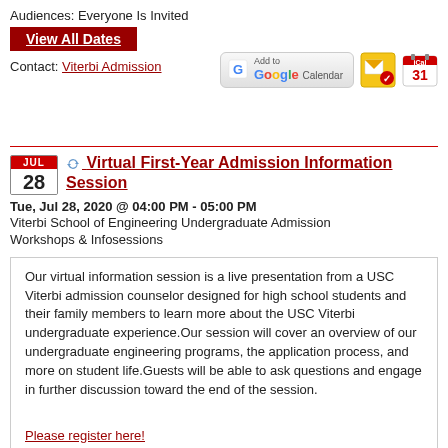Audiences: Everyone Is Invited
View All Dates
Contact: Viterbi Admission
[Figure (screenshot): Add to Google Calendar button, Outlook email icon, and iCal icon]
Virtual First-Year Admission Information Session
Tue, Jul 28, 2020 @ 04:00 PM - 05:00 PM
Viterbi School of Engineering Undergraduate Admission Workshops & Infosessions
Our virtual information session is a live presentation from a USC Viterbi admission counselor designed for high school students and their family members to learn more about the USC Viterbi undergraduate experience.Our session will cover an overview of our undergraduate engineering programs, the application process, and more on student life.Guests will be able to ask questions and engage in further discussion toward the end of the session.

Please register here!